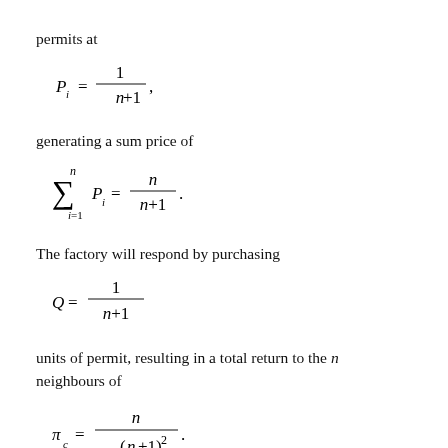permits at
generating a sum price of
The factory will respond by purchasing
units of permit, resulting in a total return to the n neighbours of
The factory will most likely protest, reminding the